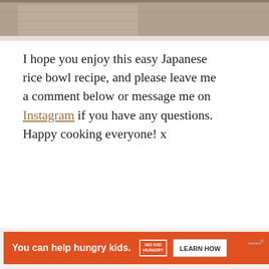[Figure (photo): Partial photo of Japanese rice bowl or fabric/cloth visible at top of page]
I hope you enjoy this easy Japanese rice bowl recipe, and please leave me a comment below or message me on Instagram if you have any questions. Happy cooking everyone! x
[Figure (infographic): Cookies for Kids Cancer advertisement banner: green background with logo circle, hands holding heart cookie, text 'your HOBBY is their HOPE']
[Figure (infographic): No Kid Hungry advertisement banner: orange/red background with text 'You can help hungry kids.' and 'LEARN HOW' button, close X button, www badge]